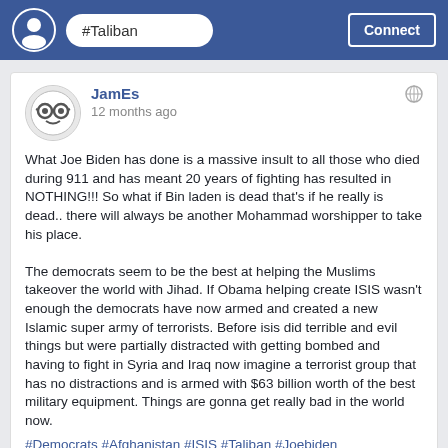#Taliban | Connect
JamEs
12 months ago
What Joe Biden has done is a massive insult to all those who died during 911 and has meant 20 years of fighting has resulted in NOTHING!!! So what if Bin laden is dead that's if he really is dead.. there will always be another Mohammad worshipper to take his place.

The democrats seem to be the best at helping the Muslims takeover the world with Jihad. If Obama helping create ISIS wasn't enough the democrats have now armed and created a new Islamic super army of terrorists. Before isis did terrible and evil things but were partially distracted with getting bombed and having to fight in Syria and Iraq now imagine a terrorist group that has no distractions and is armed with $63 billion worth of the best military equipment. Things are gonna get really bad in the world now. #Democrats #Afghanistan #ISIS #Taliban #Joebiden
Like - Comment - Share    👍 1  💬 1  🔁 1
Freedom Fighter: The only reason that the democrats...